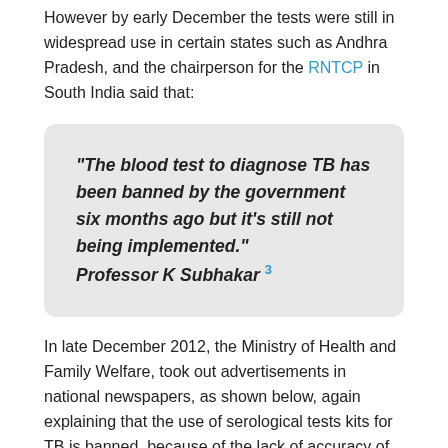However by early December the tests were still in widespread use in certain states such as Andhra Pradesh, and the chairperson for the RNTCP in South India said that:
“The blood test to diagnose TB has been banned by the government six months ago but it’s still not being implemented.” Professor K Subhakar 3
In late December 2012, the Ministry of Health and Family Welfare, took out advertisements in national newspapers, as shown below, again explaining that the use of serological tests kits for TB is banned, because of the lack of accuracy of the tests. The newspaper advertisements, also contained a number of questions and answers.
They explained that this does not mean that there are no TB